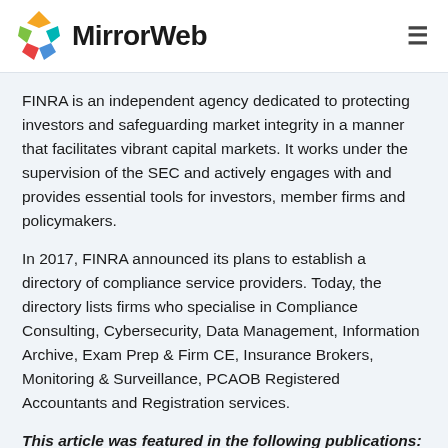MirrorWeb
FINRA is an independent agency dedicated to protecting investors and safeguarding market integrity in a manner that facilitates vibrant capital markets. It works under the supervision of the SEC and actively engages with and provides essential tools for investors, member firms and policymakers.
In 2017, FINRA announced its plans to establish a directory of compliance service providers. Today, the directory lists firms who specialise in Compliance Consulting, Cybersecurity, Data Management, Information Archive, Exam Prep & Firm CE, Insurance Brokers, Monitoring & Surveillance, PCAOB Registered Accountants and Registration services.
This article was featured in the following publications: